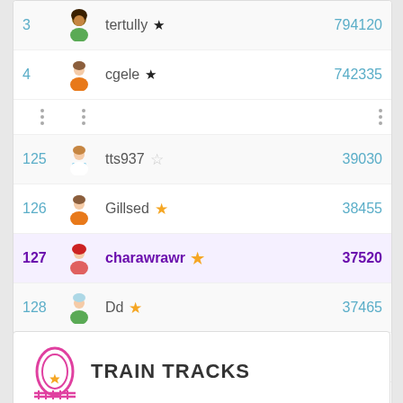| Rank | Avatar | Username | Score |
| --- | --- | --- | --- |
| 3 |  | tertully ★ | 794120 |
| 4 |  | cgele ★ | 742335 |
| ... | ... | ... | ... |
| 125 |  | tts937 ☆ | 39030 |
| 126 |  | Gillsed ★ | 38455 |
| 127 |  | charawrawr ★ | 37520 |
| 128 |  | Dd ★ | 37465 |
| 129 |  | Balvenie ★ | 37330 |
View full table
TRAIN TRACKS